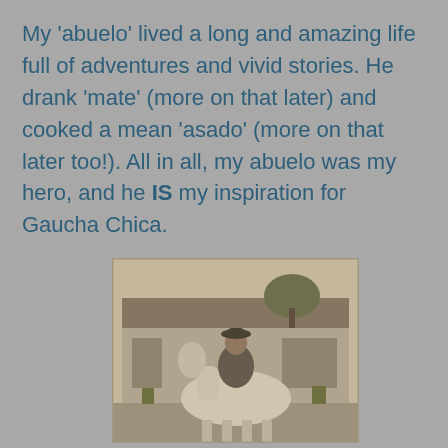My 'abuelo' lived a long and amazing life full of adventures and vivid stories. He drank 'mate' (more on that later) and cooked a mean 'asado' (more on that later too!). All in all, my abuelo was my hero, and he IS my inspiration for Gaucha Chica.
[Figure (photo): Black and white / sepia vintage photograph of a man wearing a hat, riding a white horse in front of a low building with thatched or vine-covered roof.]